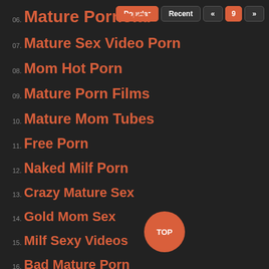06. Mature Pornolar
07. Mature Sex Video Porn
08. Mom Hot Porn
09. Mature Porn Films
10. Mature Mom Tubes
11. Free Porn
12. Naked Milf Porn
13. Crazy Mature Sex
14. Gold Mom Sex
15. Milf Sexy Videos
16. Bad Mature Porn